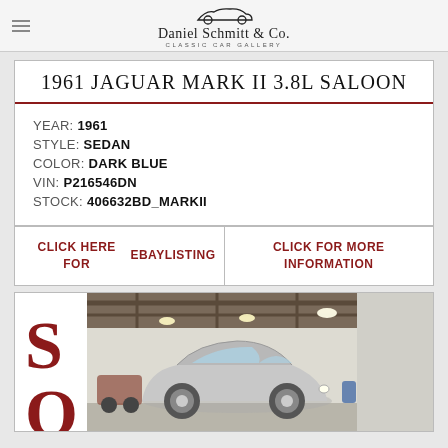Daniel Schmitt & Co. Classic Car Gallery
1961 JAGUAR MARK II 3.8L SALOON
YEAR: 1961
STYLE: SEDAN
COLOR: DARK BLUE
VIN: P216546DN
STOCK: 406632BD_MARKII
CLICK HERE FOR EBAY LISTING
CLICK FOR MORE INFORMATION
[Figure (photo): Photo of a classic silver Jaguar E-Type coupe inside a garage/showroom with steel beam ceiling and bright lighting]